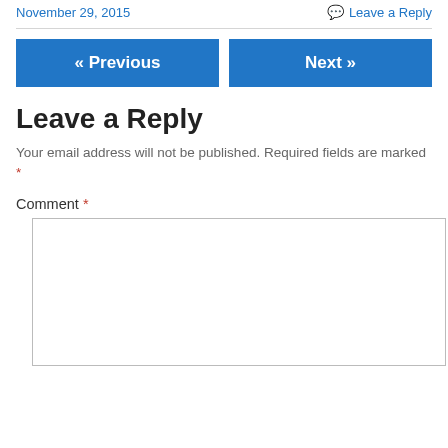November 29, 2015
Leave a Reply
« Previous
Next »
Leave a Reply
Your email address will not be published. Required fields are marked *
Comment *